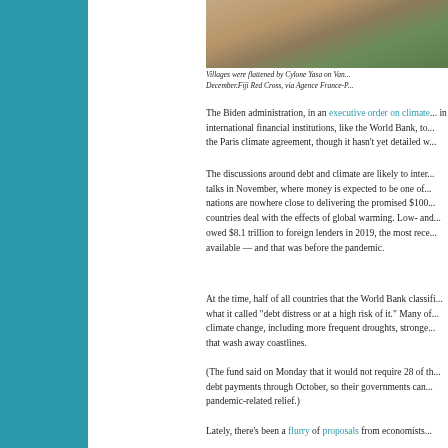[Figure (photo): Scattered bricks and rubble on grass, damage from Cyclone Yasa on Vanua Levu island in Fiji in December.]
Villages were flattened by Cylone Yasa on Van... December.Fiji Red Cross, via Agence France-P...
The Biden administration, in an executive order on climate... in international financial institutions, like the World Bank, to... the Paris climate agreement, though it hasn't yet detailed w...
The discussions around debt and climate are likely to inter... talks in November, where money is expected to be one of... nations are nowhere close to delivering the promised $100... countries deal with the effects of global warming. Low- and... owed $8.1 trillion to foreign lenders in 2019, the most rece... available — and that was before the pandemic.
At the time, half of all countries that the World Bank classifi... what it called "debt distress or at a high risk of it." Many of... climate change, including more frequent droughts, stronge... that wash away coastlines.
(The fund said on Monday that it would not require 28 of th... debt payments through October, so their governments can... pandemic-related relief.)
Lately, there's been a flurry of proposals from economists...